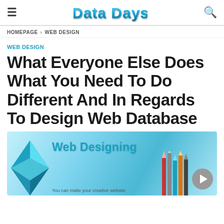Data Days
HOMEPAGE › WEB DESIGN
WEB DESIGN
What Everyone Else Does What You Need To Do Different And In Regards To Design Web Database
[Figure (photo): Web Designing promotional image with 3D triangle shape, colored pencils, and 'Web Designing' text overlay with a play button]